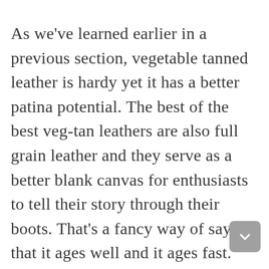As we've learned earlier in a previous section, vegetable tanned leather is hardy yet it has a better patina potential. The best of the best veg-tan leathers are also full grain leather and they serve as a better blank canvas for enthusiasts to tell their story through their boots. That's a fancy way of saying that it ages well and it ages fast. Because it's stiffer and has a rougher break in — even though once the break in is over they're insanely comfortable — veg tan leather has fallen out of favor for everyone but non-leather purists. After all, companies don't like taking returns from